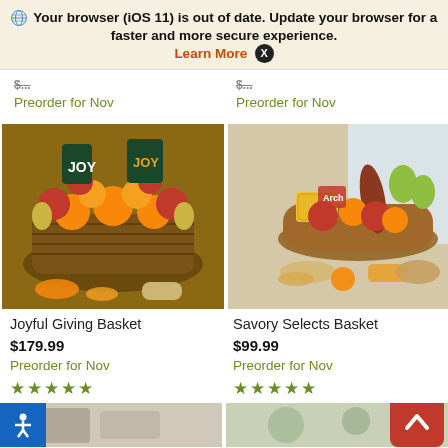Your browser (iOS 11) is out of date. Update your browser for a faster and more secure experience. Learn More X
Preorder for Nov
Preorder for Nov
[Figure (photo): Joyful Giving Basket - a large woven basket filled with fruits including oranges, apples, and pears, with cookies and nuts surrounding it]
Joyful Giving Basket
$179.99
Preorder for Nov
★★★★★
[Figure (photo): Savory Selects Basket - a wicker tray with fruits, cheeses, meats, crackers and dried fruits arranged on a table]
Savory Selects Basket
$99.99
Preorder for Nov
★★★★★